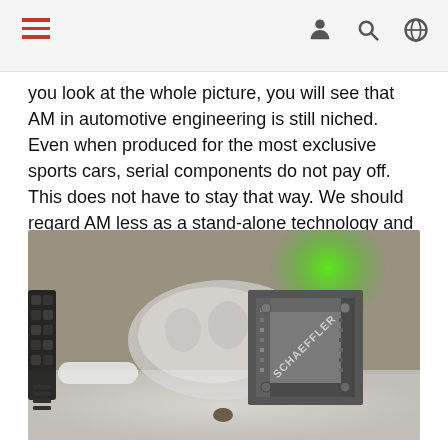[Navigation bar with hamburger menu and icons for user, search, globe]
you look at the whole picture, you will see that AM in automotive engineering is still niched. Even when produced for the most exclusive sports cars, serial components do not pay off. This does not have to stay that way. We should regard AM less as a stand-alone technology and more as an addition to traditional manufacturing chains.
[Figure (photo): Close-up photograph of 3D printed engineering components including a white lattice/mesh structural part and a metallic dark cube-shaped part with 'SCHAEFFLER' engraved on it, on a light surface with blurred background.]